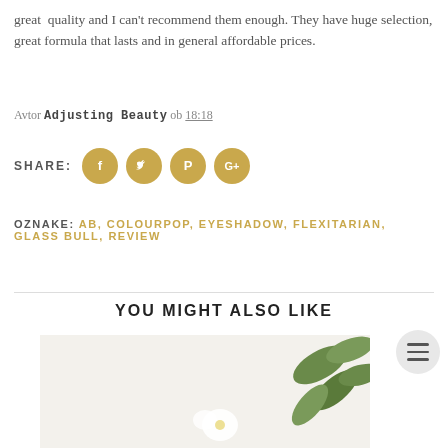great quality and I can't recommend them enough. They have huge selection, great formula that lasts and in general affordable prices.
Avtor Adjusting Beauty ob 18:18
[Figure (infographic): Share section with SHARE label and four golden circular social media icons: Facebook (f), Twitter (bird), Pinterest (P), Google+ (G+)]
OZNAKE: AB, COLOURPOP, EYESHADOW, FLEXITARIAN, GLASS BULL, REVIEW
YOU MIGHT ALSO LIKE
[Figure (photo): Partial photo of white flowers and green leaves on a light background]